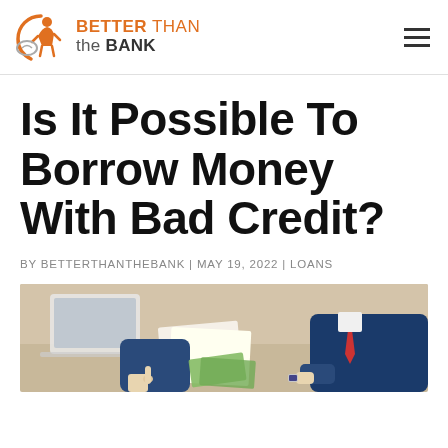BETTER THAN the BANK
Is It Possible To Borrow Money With Bad Credit?
BY BETTERTHANTHEBANK | MAY 19, 2022 | LOANS
[Figure (photo): Two people at a desk, one in a suit pointing at documents, the other with hands visible, laptop in background — a loan or financial consultation scene.]